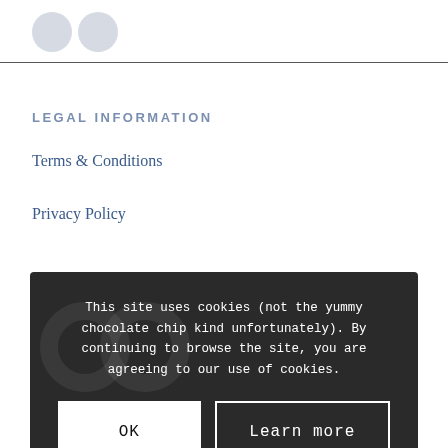LEGAL INFORMATION
Terms & Conditions
Privacy Policy
This site uses cookies (not the yummy chocolate chip kind unfortunately). By continuing to browse the site, you are agreeing to our use of cookies.
OK
Learn more